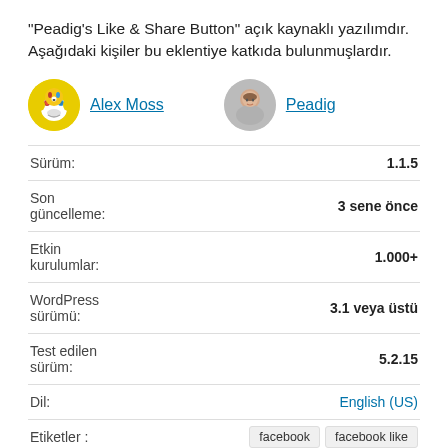"Peadig's Like & Share Button" açık kaynaklı yazılımdır. Aşağıdaki kişiler bu eklentiye katkıda bulunmuşlardır.
Alex Moss | Peadig
| Label | Value |
| --- | --- |
| Sürüm: | 1.1.5 |
| Son güncelleme: | 3 sene önce |
| Etkin kurulumlar: | 1.000+ |
| WordPress sürümü: | 3.1 veya üstü |
| Test edilen sürüm: | 5.2.15 |
| Dil: | English (US) |
| Etiketler : | facebook   facebook like   facebook like button   like   like button |